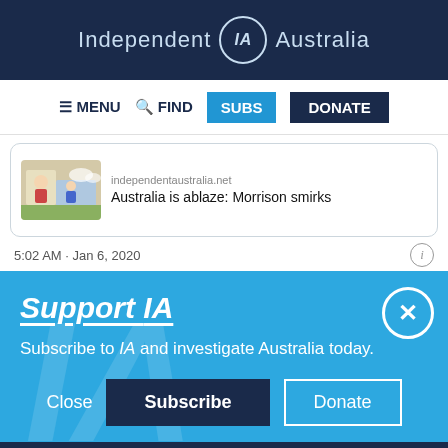Independent IA Australia
≡ MENU  🔍 FIND  SUBS  DONATE
[Figure (screenshot): Thumbnail of a cartoon illustration for an article]
independentaustralia.net
Australia is ablaze: Morrison smirks
5:02 AM · Jan 6, 2020
Support IA
Subscribe to IA and investigate Australia today.
Close  Subscribe  Donate
Twitter  Facebook  LinkedIn  Flipboard  Link  Plus